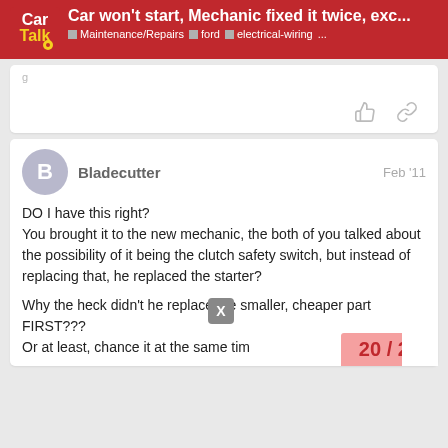Car won't start, Mechanic fixed it twice, exc... | Maintenance/Repairs | ford | electrical-wiring | ...
DO I have this right?
You brought it to the new mechanic, the both of you talked about the possibility of it being the clutch safety switch, but instead of replacing that, he replaced the starter?

Why the heck didn't he replace the smaller, cheaper part FIRST???
Or at least, chance it at the same tim
Bladecutter   Feb '11
20 / 24